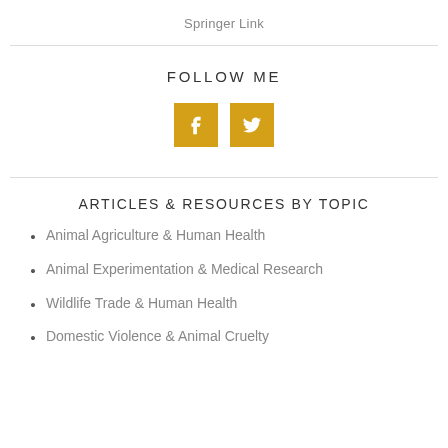Springer Link
FOLLOW ME
[Figure (illustration): Two social media icons: Facebook (f) and Twitter (bird) in golden-yellow square buttons]
ARTICLES & RESOURCES BY TOPIC
Animal Agriculture & Human Health
Animal Experimentation & Medical Research
Wildlife Trade & Human Health
Domestic Violence & Animal Cruelty